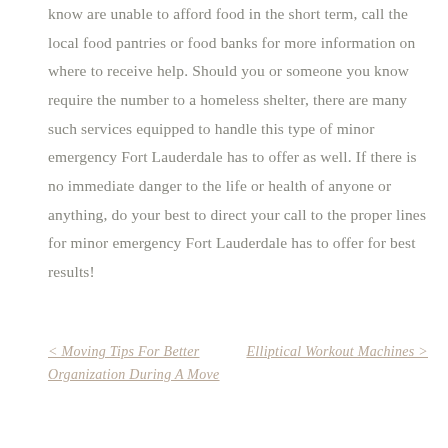know are unable to afford food in the short term, call the local food pantries or food banks for more information on where to receive help. Should you or someone you know require the number to a homeless shelter, there are many such services equipped to handle this type of minor emergency Fort Lauderdale has to offer as well. If there is no immediate danger to the life or health of anyone or anything, do your best to direct your call to the proper lines for minor emergency Fort Lauderdale has to offer for best results!
< Moving Tips For Better Organization During A Move
Elliptical Workout Machines >